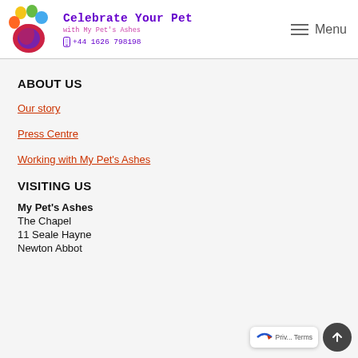Celebrate Your Pet with My Pet's Ashes | +44 1626 798198 | Menu
ABOUT US
Our story
Press Centre
Working with My Pet's Ashes
VISITING US
My Pet's Ashes
The Chapel
11 Seale Hayne
Newton Abbot